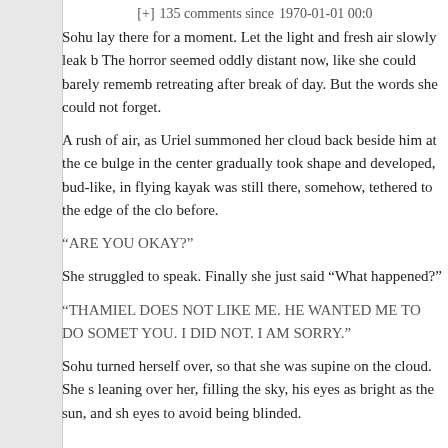[+] 135 comments since 1970-01-01 00:0
Sohu lay there for a moment. Let the light and fresh air slowly leak b The horror seemed oddly distant now, like she could barely rememb retreating after break of day. But the words she could not forget.
A rush of air, as Uriel summoned her cloud back beside him at the ce bulge in the center gradually took shape and developed, bud-like, in flying kayak was still there, somehow, tethered to the edge of the clo before.
“ARE YOU OKAY?”
She struggled to speak. Finally she just said “What happened?”
“THAMIEL DOES NOT LIKE ME. HE WANTED ME TO DO SOMETH YOU. I DID NOT. I AM SORRY.”
Sohu turned herself over, so that she was supine on the cloud. She s leaning over her, filling the sky, his eyes as bright as the sun, and sh eyes to avoid being blinded.